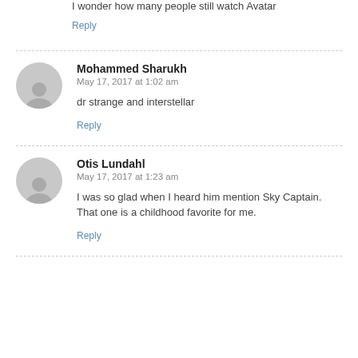I wonder how many people still watch Avatar
Reply
Mohammed Sharukh
May 17, 2017 at 1:02 am
dr strange and interstellar
Reply
Otis Lundahl
May 17, 2017 at 1:23 am
I was so glad when I heard him mention Sky Captain. That one is a childhood favorite for me.
Reply